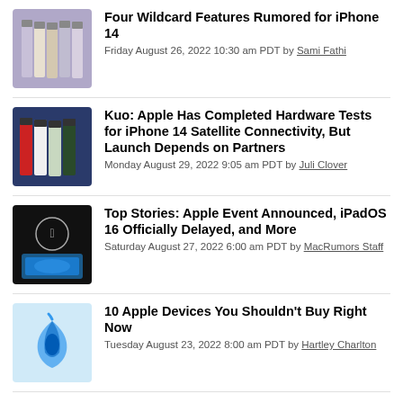[Figure (photo): iPhone 14 lineup in multiple colors on purple background]
Four Wildcard Features Rumored for iPhone 14
Friday August 26, 2022 10:30 am PDT by Sami Fathi
[Figure (photo): iPhone 14 models in red, white, and blue on dark blue background]
Kuo: Apple Has Completed Hardware Tests for iPhone 14 Satellite Connectivity, But Launch Depends on Partners
Monday August 29, 2022 9:05 am PDT by Juli Clover
[Figure (photo): Apple event with person using iPad on blue background]
Top Stories: Apple Event Announced, iPadOS 16 Officially Delayed, and More
Saturday August 27, 2022 6:00 am PDT by MacRumors Staff
[Figure (logo): Apple logo ribbon on light blue background]
10 Apple Devices You Shouldn't Buy Right Now
Tuesday August 23, 2022 8:00 am PDT by Hartley Charlton
When Are iPhone 14 Pre-Orders?